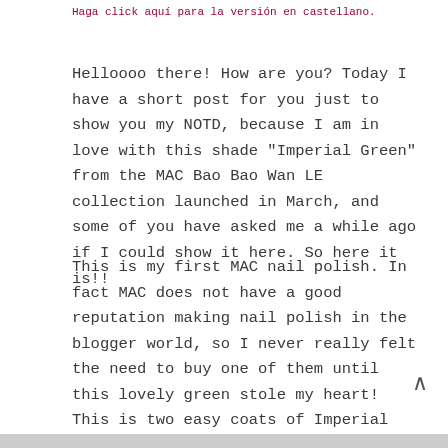Haga click aquí para la versión en castellano.
Helloooo there! How are you? Today I have a short post for you just to show you my NOTD, because I am in love with this shade "Imperial Green" from the MAC Bao Bao Wan LE collection launched in March, and some of you have asked me a while ago if I could show it here. So here it is!!
This is my first MAC nail polish. In fact MAC does not have a good reputation making nail polish in the blogger world, so I never really felt the need to buy one of them until this lovely green stole my heart! This is two easy coats of Imperial green awesomeness!